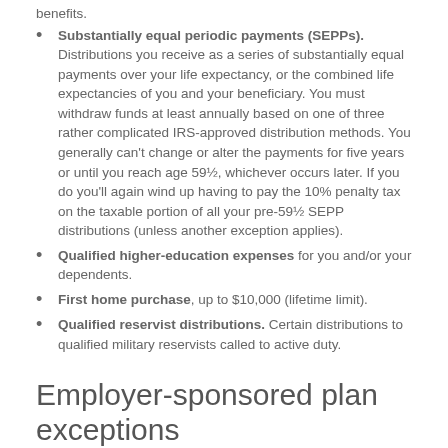benefits.
Substantially equal periodic payments (SEPPs). Distributions you receive as a series of substantially equal payments over your life expectancy, or the combined life expectancies of you and your beneficiary. You must withdraw funds at least annually based on one of three rather complicated IRS-approved distribution methods. You generally can't change or alter the payments for five years or until you reach age 59½, whichever occurs later. If you do you'll again wind up having to pay the 10% penalty tax on the taxable portion of all your pre-59½ SEPP distributions (unless another exception applies).
Qualified higher-education expenses for you and/or your dependents.
First home purchase, up to $10,000 (lifetime limit).
Qualified reservist distributions. Certain distributions to qualified military reservists called to active duty.
Employer-sponsored plan exceptions